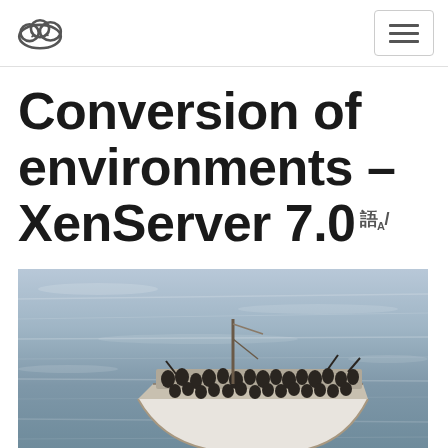[cloud logo] [navigation menu button]
Conversion of environments – XenServer 7.0
[Figure (photo): A crowded small white wooden boat carrying many people on open sea water, viewed from above at an angle. The boat is packed with passengers and is floating in blue-grey choppy ocean water.]